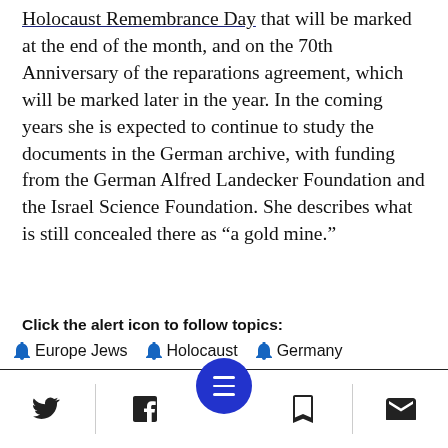Holocaust Remembrance Day that will be marked at the end of the month, and on the 70th Anniversary of the reparations agreement, which will be marked later in the year. In the coming years she is expected to continue to study the documents in the German archive, with funding from the German Alfred Landecker Foundation and the Israel Science Foundation. She describes what is still concealed there as “a gold mine.”
Click the alert icon to follow topics:
Europe Jews
Holocaust
Germany